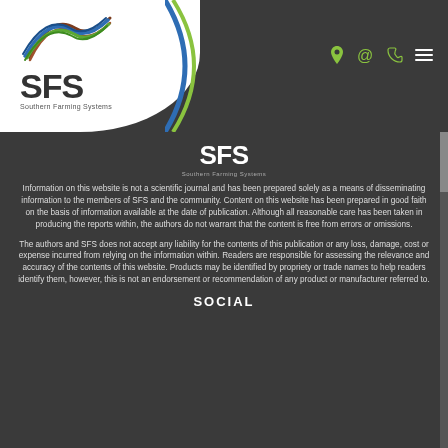[Figure (logo): SFS Southern Farming Systems logo with wave graphic mark, white background with dark rounded corner]
[Figure (logo): Navigation icons: location pin, at-sign, phone, hamburger menu in olive green and white on dark background]
[Figure (logo): SFS Southern Farming Systems logo centered on dark background]
Information on this website is not a scientific journal and has been prepared solely as a means of disseminating information to the members of SFS and the community. Content on this website has been prepared in good faith on the basis of information available at the date of publication. Although all reasonable care has been taken in producing the reports within, the authors do not warrant that the content is free from errors or omissions.
The authors and SFS does not accept any liability for the contents of this publication or any loss, damage, cost or expense incurred from relying on the information within. Readers are responsible for assessing the relevance and accuracy of the contents of this website. Products may be identified by propriety or trade names to help readers identify them, however, this is not an endorsement or recommendation of any product or manufacturer referred to.
SOCIAL